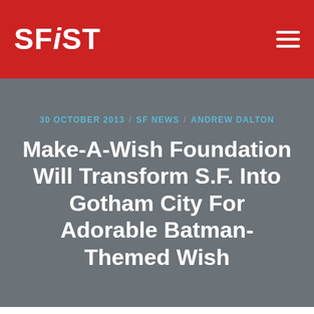SFiST
30 OCTOBER 2013 / SF NEWS / ANDREW DALTON
Make-A-Wish Foundation Will Transform S.F. Into Gotham City For Adorable Batman-Themed Wish